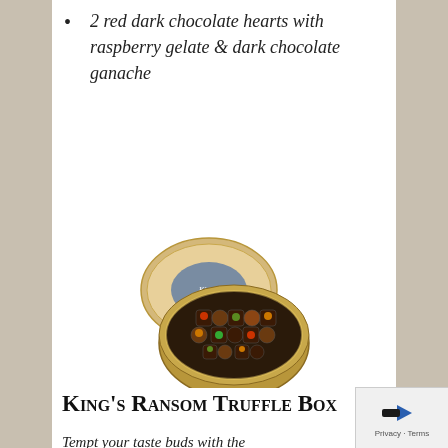2 red dark chocolate hearts with raspberry gelate & dark chocolate ganache
[Figure (photo): A round gold tin box of assorted chocolates, open lid leaning against the tin showing colorful chocolates arranged inside.]
King's Ransom Truffle Box
Tempt your taste buds with the